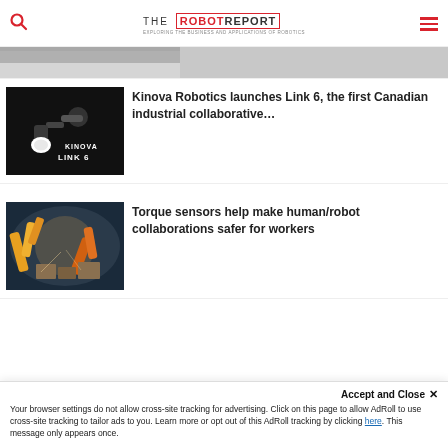THE ROBOT REPORT — EXPLORING THE BUSINESS AND APPLICATIONS OF ROBOTICS
[Figure (photo): Partial top image of what appears to be a robotic or industrial surface, cropped]
[Figure (photo): Kinova Link 6 robotic arm on black background with KINOVA LINK 6 text]
Kinova Robotics launches Link 6, the first Canadian industrial collaborative…
[Figure (photo): Yellow and orange industrial robotic arms working in a warehouse/factory environment]
Torque sensors help make human/robot collaborations safer for workers
Accept and Close ✕
Your browser settings do not allow cross-site tracking for advertising. Click on this page to allow AdRoll to use cross-site tracking to tailor ads to you. Learn more or opt out of this AdRoll tracking by clicking here. This message only appears once.